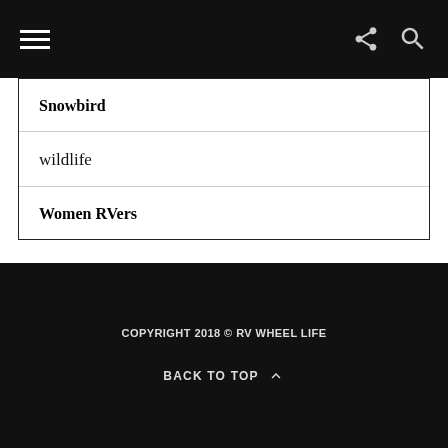Navigation bar with hamburger menu, share, and search icons
Snowbird
wildlife
Women RVers
COPYRIGHT 2018 © RV WHEEL LIFE
BACK TO TOP